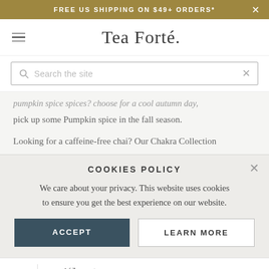FREE US SHIPPING ON $49+ ORDERS*
[Figure (screenshot): Tea Forte website navigation bar with hamburger menu and logo]
[Figure (screenshot): Search bar with search icon and close button]
pumpkin spice spices? choose for a cool autumn day,
pick up some Pumpkin spice in the fall season.
Looking for a caffeine-free chai? Our Chakra Collection
COOKIES POLICY
We care about your privacy. This website uses cookies to ensure you get the best experience on our website.
ACCEPT
LEARN MORE